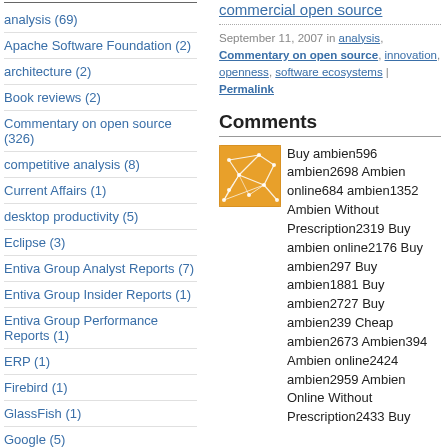analysis (69)
Apache Software Foundation (2)
architecture (2)
Book reviews (2)
Commentary on open source (326)
competitive analysis (8)
Current Affairs (1)
desktop productivity (5)
Eclipse (3)
Entiva Group Analyst Reports (7)
Entiva Group Insider Reports (1)
Entiva Group Performance Reports (1)
ERP (1)
Firebird (1)
GlassFish (1)
Google (5)
IBM (1)
commercial open source
September 11, 2007 in analysis, Commentary on open source, innovation, openness, software ecosystems | Permalink
Comments
[Figure (illustration): Orange abstract network/mesh avatar icon]
Buy ambien596 ambien2698 Ambien online684 ambien1352 Ambien Without Prescription2319 Buy ambien online2176 Buy ambien297 Buy ambien1881 Buy ambien2727 Buy ambien239 Cheap ambien2673 Ambien394 Ambien online2424 ambien2959 Ambien Online Without Prescription2433 Buy